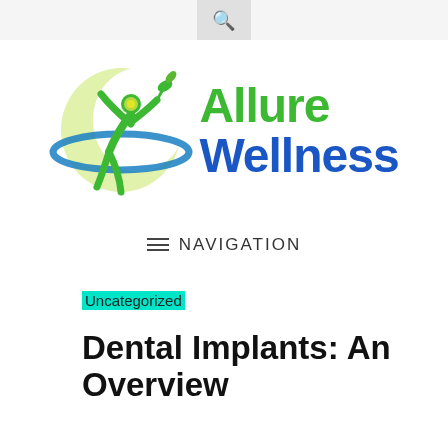🔍
[Figure (logo): Allure Wellness logo: green figure with arms raised inside a crescent moon shape with blue orbit ring and plant sprig, next to the text Allure Wellness in green and blue]
≡ NAVIGATION
Uncategorized
Dental Implants: An Overview